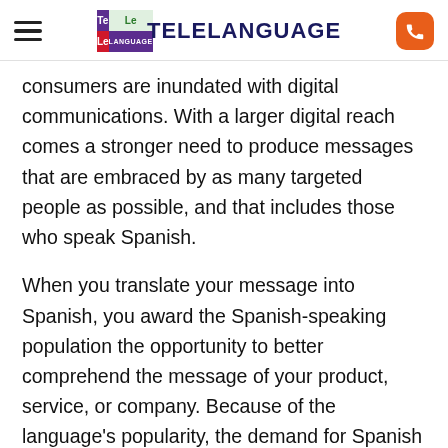TELELANGUAGE
consumers are inundated with digital communications. With a larger digital reach comes a stronger need to produce messages that are embraced by as many targeted people as possible, and that includes those who speak Spanish.
When you translate your message into Spanish, you award the Spanish-speaking population the opportunity to better comprehend the message of your product, service, or company. Because of the language's popularity, the demand for Spanish translation services in the United States is very high with a high reward of success in return.